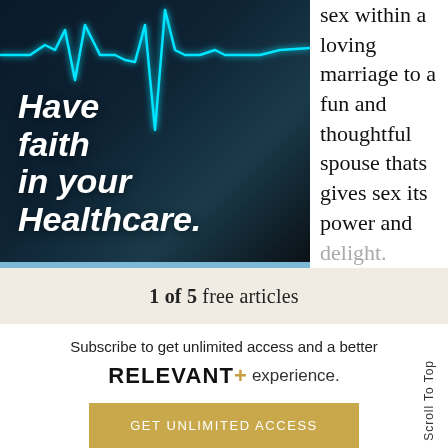[Figure (illustration): Healthcare advertisement with ECG/heartbeat line on dark teal/black background, with italic bold white text 'Have faith in your Healthcare.' overlaid on the image.]
sex within a loving marriage to a fun and thoughtful spouse thats gives sex its power and delight.
1 of 5 free articles
Subscribe to get unlimited access and a better RELEVANT+ experience.
GET UNLIMITED ACCESS
Scroll To Top